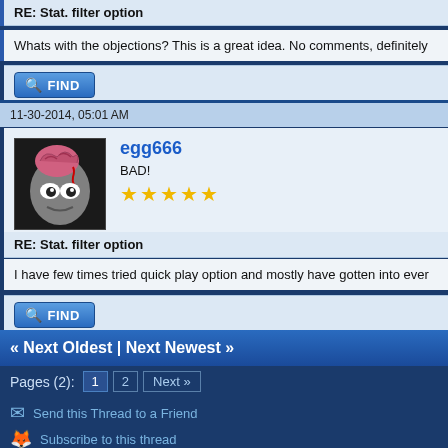RE: Stat. filter option
Whats with the objections? This is a great idea. No comments, definitely
11-30-2014, 05:01 AM
egg666
BAD!
★★★★★
RE: Stat. filter option
I have few times tried quick play option and mostly have gotten into ever
« Next Oldest | Next Newest »
Pages (2): 1  2  Next »
Send this Thread to a Friend
Subscribe to this thread